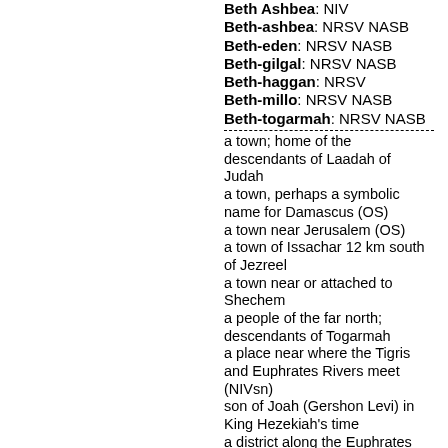Beth Ashbea: NIV
Beth-ashbea: NRSV NASB
Beth-eden: NRSV NASB
Beth-gilgal: NRSV NASB
Beth-haggan: NRSV
Beth-millo: NRSV NASB
Beth-togarmah: NRSV NASB
a town; home of the descendants of Laadah of Judah
a town, perhaps a symbolic name for Damascus (OS)
a town near Jerusalem (OS)
a town of Issachar 12 km south of Jezreel
a town near or attached to Shechem
a people of the far north; descendants of Togarmah
a place near where the Tigris and Euphrates Rivers meet (NIVsn)
son of Joah (Gershon Levi) in King Hezekiah's time
a district along the Euphrates River south of Haran (NIVsn)
a section of Jerusalem just north of the "City of David"
son of Gomer son of Japheth son of Noah